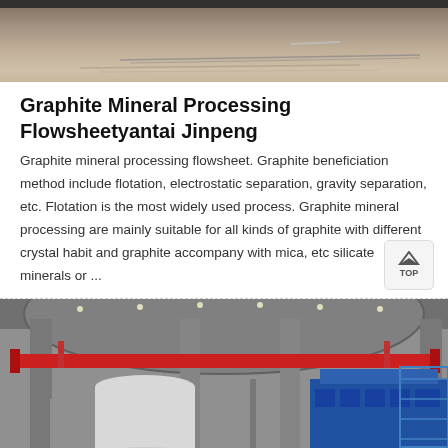[Figure (photo): Outdoor earthwork or pipeline installation site with dry soil and irrigation lines]
Graphite Mineral Processing Flowsheetyantai Jinpeng
Graphite mineral processing flowsheet. Graphite beneficiation method include flotation, electrostatic separation, gravity separation, etc. Flotation is the most widely used process. Graphite mineral processing are mainly suitable for all kinds of graphite with different crystal habit and graphite accompany with mica, etc silicate minerals or ...
[Figure (photo): Industrial mineral processing plant interior with overhead crane, columns, and large blue flotation or processing machine]
Message   Online Chat